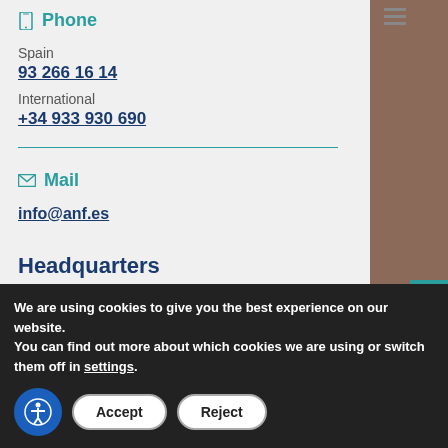Phone
Spain
93 266 16 14
International
+34 933 930 690
Mail
info@anf.es
Headquarters
ANF AC Spain
We are using cookies to give you the best experience on our website.
You can find out more about which cookies we are using or switch them off in settings.
PARTNERS